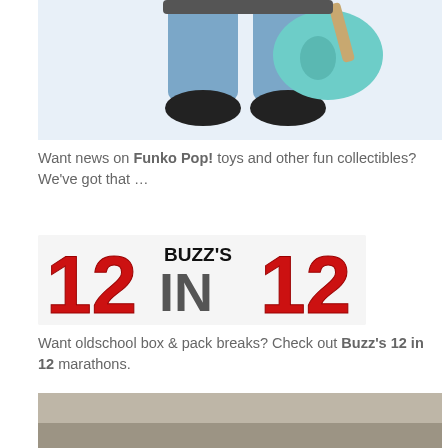[Figure (photo): Funko Pop figure of a cartoon character with blue jeans and a teal electric guitar, shown from torso down, against a light blue-white background]
Want news on Funko Pop! toys and other fun collectibles? We've got that …
[Figure (logo): Buzz's 12 in 12 logo — large red block letters '12' on each side with gray 'IN' in center, 'BUZZ'S' in black above center]
Want oldschool box & pack breaks? Check out Buzz's 12 in 12 marathons.
[Figure (photo): Partial photo of what appears to be a metallic or reflective surface, cropped at bottom of page]